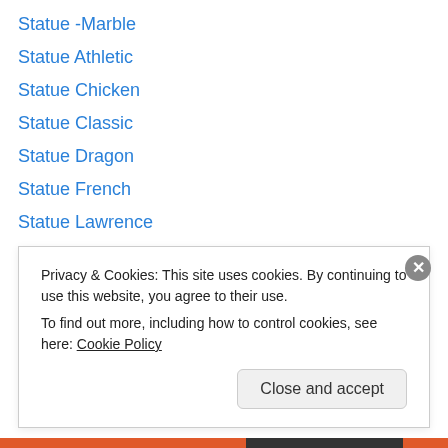Statue -Marble
Statue Athletic
Statue Chicken
Statue Classic
Statue Dragon
Statue French
Statue Lawrence
Statue Mecury Gods
Statue Thrower
Statues
Statues – Cheetahas Cat
Statues – Gatekeeper Lions
Statues – Lions Cat
Privacy & Cookies: This site uses cookies. By continuing to use this website, you agree to their use. To find out more, including how to control cookies, see here: Cookie Policy